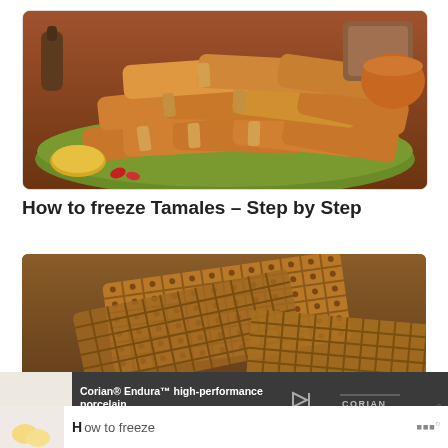[Figure (photo): A plate of tamales wrapped in corn husks stacked on a green plate, with a pepper shaker, basket, yellow squash, and small red peppers visible in the background on a wooden table.]
How to freeze Tamales – Step by Step
[Figure (photo): Close-up photo of waffle-pattern crispy crackers or snacks with a honeycomb/grid texture on a wooden surface.]
[Figure (photo): Advertisement banner: Corian® Endura™ high-performance porcelain. Learn More button. Corian Endura logo. Small thumbnail of lemons on marble.]